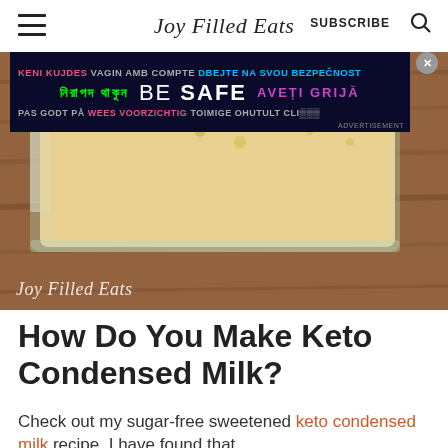Joy Filled Eats — SUBSCRIBE
[Figure (photo): Advertisement banner with multilingual safety message 'BE SAFE' in dark navy background with colorful text in multiple languages]
[Figure (photo): Close-up overhead photo of a glass baking dish filled with creamy keto condensed milk on a wooden surface, with Joy Filled Eats watermark]
How Do You Make Keto Condensed Milk?
Check out my sugar-free sweetened keto condensed milk recipe. I have found that